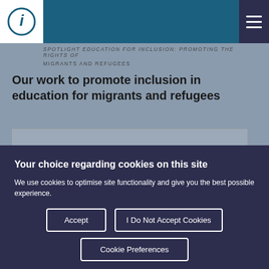SPOTLIGHT EDUCATION FOR INCLUSION: PROMOTING THE RIGHTS OF MIGRANTS AND REFUGEES
Our work to promote inclusion in education for migrants and refugees
Your choice regarding cookies on this site
We use cookies to optimise site functionality and give you the best possible experience.
Accept
I Do Not Accept Cookies
Cookie Preferences